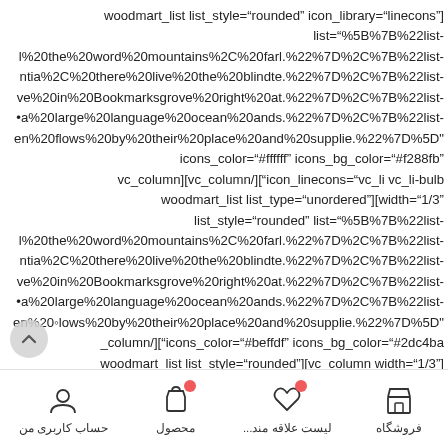woodmart_list list_style="rounded" icon_library="linecons"] list="%5B%7B%22list- l%20the%20word%20mountains%2C%20farl.%22%7D%2C%7B%22list- ntia%2C%20there%20live%20the%20blindte.%22%7D%2C%7B%22list- ve%20in%20Bookmarksgrove%20right%20at.%22%7D%2C%7B%22list- a%20large%20language%20ocean%20ands.%22%7D%2C%7B%22list- en%20flows%20by%20their%20place%20and%20supplie.%22%7D%5D" icons_color="#ffffff" icons_bg_color="#f288fb" vc_column][vc_column/]["icon_linecons="vc_li vc_li-bulb woodmart_list list_type="unordered"][width="1/3" list_style="rounded" list="%5B%7B%22list- l%20the%20word%20mountains%2C%20farl.%22%7D%2C%7B%22list- ntia%2C%20there%20live%20the%20blindte.%22%7D%2C%7B%22list- ve%20in%20Bookmarksgrove%20right%20at.%22%7D%2C%7B%22list- a%20large%20language%20ocean%20ands.%22%7D%2C%7B%22list- en%20flows%20by%20their%20place%20and%20supplie.%22%7D%5D" _column/]["icons_color="#beffdf" icons_bg_color="#2dc4ba woodmart_list list_style="rounded"][vc_column width="1/3"]
[Figure (other): Bottom navigation bar with four items: حساب کاربری من (account), محصول (product, with red badge), لیست علاقه مند... (wishlist, with red badge), فروشگاه (store). Also a scroll-to-top button on the left.]